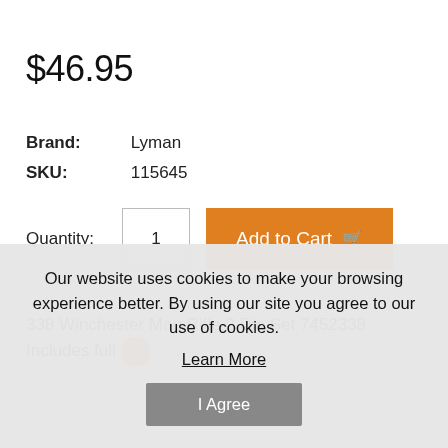$46.95
Brand:	Lyman
SKU:	115645
Quantity: 1  Add to Cart
338 Winchester Mag Rifle 2 Die Set 7452338 Includes full
Our website uses cookies to make your browsing experience better. By using our site you agree to our use of cookies.
Learn More
I Agree